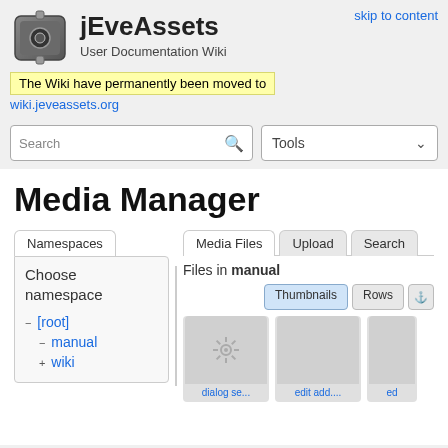skip to content
jEveAssets
User Documentation Wiki
The Wiki have permanently been moved to wiki.jeveassets.org
Search
Tools
Media Manager
Namespaces
Media Files
Upload
Search
Choose namespace
Files in manual
Thumbnails
Rows
- [root]
- manual
+ wiki
dialog se...
edit add....
ed